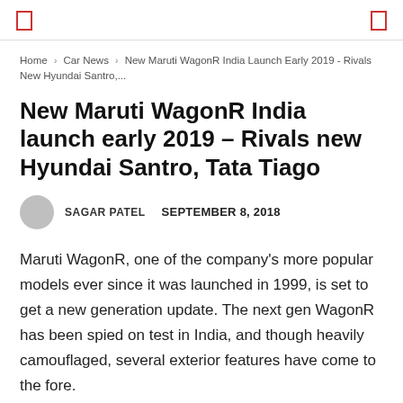[ navigation icons ]
Home › Car News › New Maruti WagonR India Launch Early 2019 - Rivals New Hyundai Santro,...
New Maruti WagonR India launch early 2019 – Rivals new Hyundai Santro, Tata Tiago
SAGAR PATEL   SEPTEMBER 8, 2018
Maruti WagonR, one of the company's more popular models ever since it was launched in 1999, is set to get a new generation update. The next gen WagonR has been spied on test in India, and though heavily camouflaged, several exterior features have come to the fore.